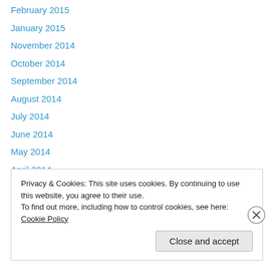February 2015
January 2015
November 2014
October 2014
September 2014
August 2014
July 2014
June 2014
May 2014
April 2014
March 2014
February 2014
January 2014
Privacy & Cookies: This site uses cookies. By continuing to use this website, you agree to their use.
To find out more, including how to control cookies, see here: Cookie Policy
Close and accept